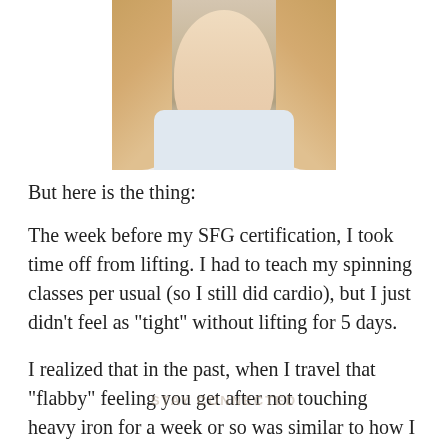[Figure (photo): Cropped photo of a blonde woman wearing a light blue denim jacket and white shirt, visible from shoulders up.]
But here is the thing:
The week before my SFG certification, I took time off from lifting. I had to teach my spinning classes per usual (so I still did cardio), but I just didn't feel as “tight” without lifting for 5 days.
I realized that in the past, when I travel that “flabby” feeling you get after not touching heavy iron for a week or so was similar to how I felt days leading up to the SFG.
When you travel or you on vacation, typically you walk a lot; that excess cardio is not the same as a